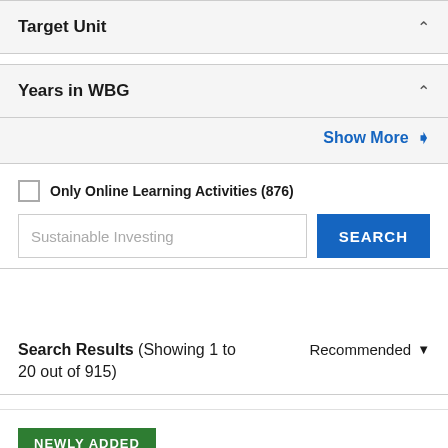Target Unit
Years in WBG
Show More ›
Only Online Learning Activities (876)
Sustainable Investing
SEARCH
Search Results (Showing 1 to 20 out of 915)
Recommended
NEWLY ADDED